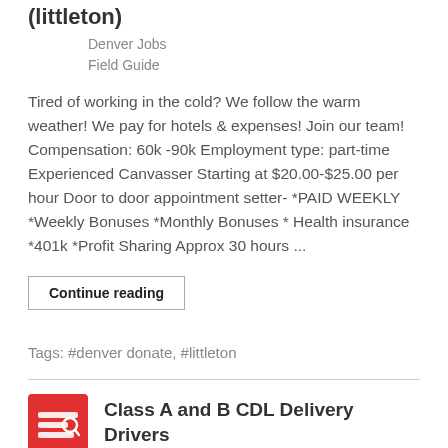(littleton)
Denver Jobs
Field Guide
Tired of working in the cold? We follow the warm weather! We pay for hotels & expenses! Join our team! Compensation: 60k -90k Employment type: part-time Experienced Canvasser Starting at $20.00-$25.00 per hour Door to door appointment setter- *PAID WEEKLY *Weekly Bonuses *Monthly Bonuses * Health insurance *401k *Profit Sharing Approx 30 hours ...
Continue reading
Tags: #denver donate, #littleton
Class A and B CDL Delivery Drivers